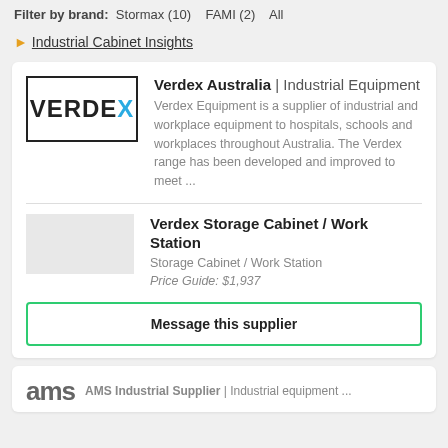Filter by brand: Stormax (10)   FAMI (2)   All
Industrial Cabinet Insights
[Figure (logo): Verdex logo — black bold text VERDEX with blue X, inside a black border rectangle]
Verdex Australia | Industrial Equipment
Verdex Equipment is a supplier of industrial and workplace equipment to hospitals, schools and workplaces throughout Australia. The Verdex range has been developed and improved to meet ...
Verdex Storage Cabinet / Work Station
Storage Cabinet / Work Station
Price Guide: $1,937
Message this supplier
[Figure (logo): AMS Industrial Supplier logo — partial logo visible at bottom]